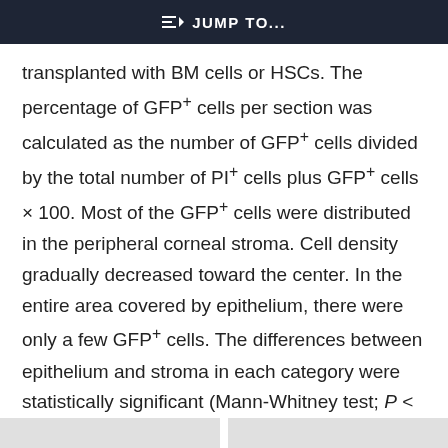JUMP TO...
transplanted with BM cells or HSCs. The percentage of GFP+ cells per section was calculated as the number of GFP+ cells divided by the total number of PI+ cells plus GFP+ cells × 100. Most of the GFP+ cells were distributed in the peripheral corneal stroma. Cell density gradually decreased toward the center. In the entire area covered by epithelium, there were only a few GFP+ cells. The differences between epithelium and stroma in each category were statistically significant (Mann-Whitney test; P < 0.01).
This site uses cookies. By continuing to use our website, you are agreeing to our privacy policy. Accept